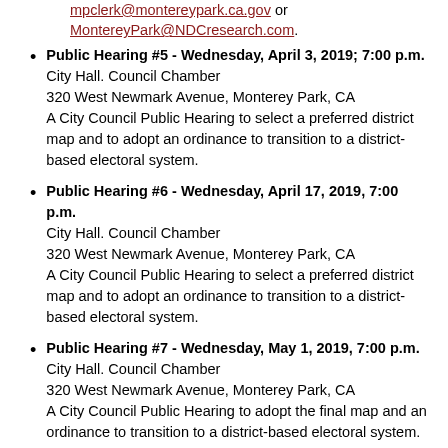mpclerk@montereypark.ca.gov or MontereyPark@NDCresearch.com.
Public Hearing #5 - Wednesday, April 3, 2019; 7:00 p.m. City Hall. Council Chamber 320 West Newmark Avenue, Monterey Park, CA A City Council Public Hearing to select a preferred district map and to adopt an ordinance to transition to a district-based electoral system.
Public Hearing #6 - Wednesday, April 17, 2019, 7:00 p.m. City Hall. Council Chamber 320 West Newmark Avenue, Monterey Park, CA A City Council Public Hearing to select a preferred district map and to adopt an ordinance to transition to a district-based electoral system.
Public Hearing #7 - Wednesday, May 1, 2019, 7:00 p.m. City Hall. Council Chamber 320 West Newmark Avenue, Monterey Park, CA A City Council Public Hearing to adopt the final map and an ordinance to transition to a district-based electoral system.
City Council Agenda Reports
December 18, 2013 - District Voting